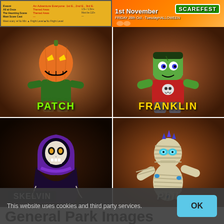[Figure (illustration): Left banner with event schedule info on orange/green background]
[Figure (illustration): Right banner: '1st November' date text and 'SCAREFEST' logo on orange background]
[Figure (illustration): Four Halloween character illustrations in a 2x2 grid: Patch (pumpkin-headed scarecrow), Franklin (Frankenstein monster child), Skelvin (skeleton in purple cloak), Phil (mummy character). Each character has their name displayed below them.]
General Park Images
This website uses cookies and third party services.
OK